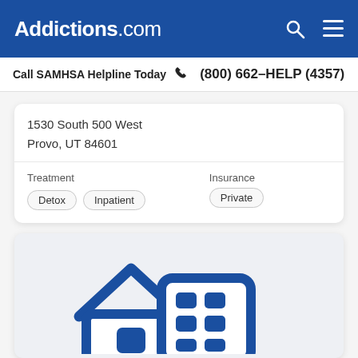Addictions.com
Call SAMHSA Helpline Today  (800) 662-HELP (4357)
1530 South 500 West
Provo, UT 84601
| Treatment | Insurance |
| --- | --- |
| Detox  Inpatient | Private |
[Figure (illustration): Blue icon of a house and office building representing a treatment facility]